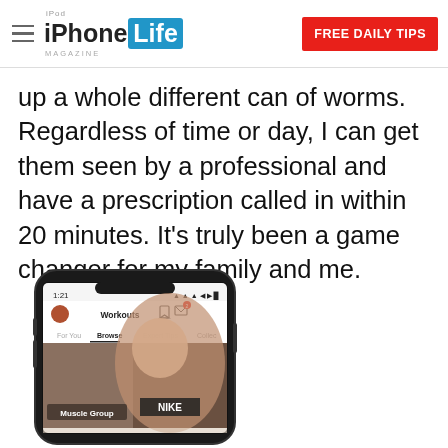iPhone Life Magazine | FREE DAILY TIPS
up a whole different can of worms. Regardless of time or day, I can get them seen by a professional and have a prescription called in within 20 minutes. It's truly been a game changer for my family and me.
[Figure (photo): iPhone X showing the Nike Training Club app Workouts screen on the Browse tab, with a female athlete in a Nike tank top labeled 'Muscle Group']